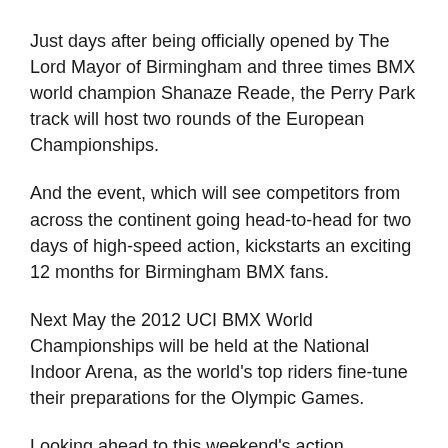Just days after being officially opened by The Lord Mayor of Birmingham and three times BMX world champion Shanaze Reade, the Perry Park track will host two rounds of the European Championships.
And the event, which will see competitors from across the continent going head-to-head for two days of high-speed action, kickstarts an exciting 12 months for Birmingham BMX fans.
Next May the 2012 UCI BMX World Championships will be held at the National Indoor Arena, as the world's top riders fine-tune their preparations for the Olympic Games.
Looking ahead to this weekend's action, Birmingham City Council Cabinet Member for Leisure, Sports and Culture, Cllr Martin Mullaney said: "Birmingham is proud to be hosting this event for the first time at this fantastic brand new facility. We look forward to welcoming our European...